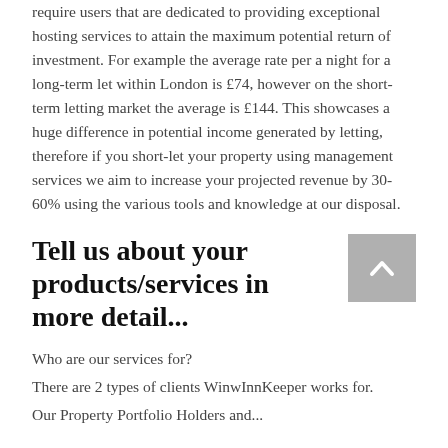require users that are dedicated to providing exceptional hosting services to attain the maximum potential return of investment. For example the average rate per a night for a long-term let within London is £74, however on the short-term letting market the average is £144. This showcases a huge difference in potential income generated by letting, therefore if you short-let your property using management services we aim to increase your projected revenue by 30-60% using the various tools and knowledge at our disposal.
Tell us about your products/services in more detail...
Who are our services for?
There are 2 types of clients WinwInnKeeper works for.
Our Property Portfolio Holders and...